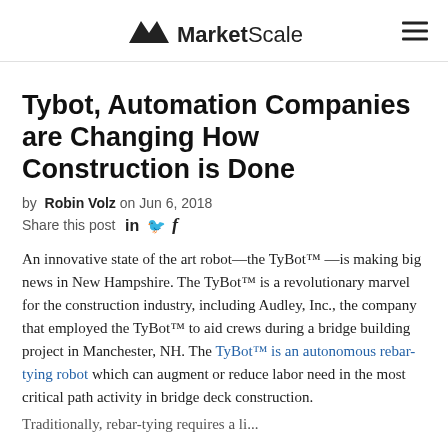MarketScale
Tybot, Automation Companies are Changing How Construction is Done
by Robin Volz on Jun 6, 2018
Share this post
An innovative state of the art robot—the TyBot™—is making big news in New Hampshire. The TyBot™ is a revolutionary marvel for the construction industry, including Audley, Inc., the company that employed the TyBot™ to aid crews during a bridge building project in Manchester, NH. The TyBot™ is an autonomous rebar-tying robot which can augment or reduce labor need in the most critical path activity in bridge deck construction.
Traditionally, rebar-tying requires...